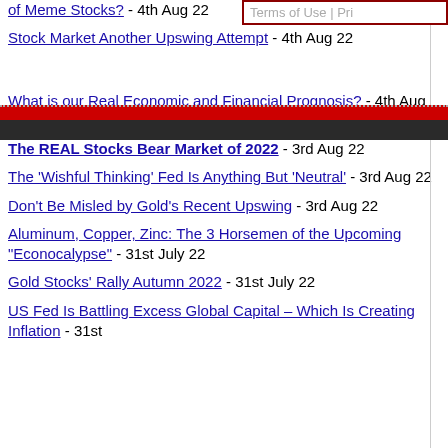of Meme Stocks? - 4th Aug 22
Stock Market Another Upswing Attempt - 4th Aug 22
What is our Real Economic and Financial Prognosis? - 4th Aug 22
The REAL Stocks Bear Market of 2022 - 3rd Aug 22
The 'Wishful Thinking' Fed Is Anything But 'Neutral' - 3rd Aug 22
Don't Be Misled by Gold's Recent Upswing - 3rd Aug 22
Aluminum, Copper, Zinc: The 3 Horsemen of the Upcoming "Econocalypse" - 31st July 22
Gold Stocks' Rally Autumn 2022 - 31st July 22
US Fed Is Battling Excess Global Capital – Which Is Creating Inflation - 31st